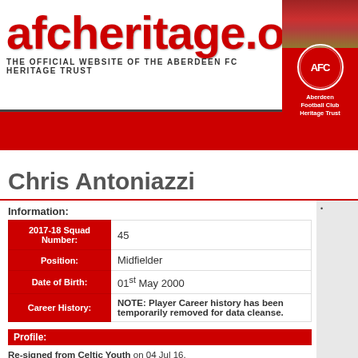afcheritage.org - THE OFFICIAL WEBSITE OF THE ABERDEEN FC HERITAGE TRUST
Chris Antoniazzi
Information:
| Field | Value |
| --- | --- |
| 2017-18 Squad Number: | 45 |
| Position: | Midfielder |
| Date of Birth: | 01st May 2000 |
| Career History: | NOTE: Player Career history has been temporarily removed for data cleanse. |
Profile:
Re-signed from Celtic Youth on 04 Jul 16. Went out on loan to Montrose FC for the 2018-2019 season and followed up with a loan till January 2020 at Cove Rangers. Released by Aberdeen 9th June 2020. In July 2020 he joined Forfar Athletics.